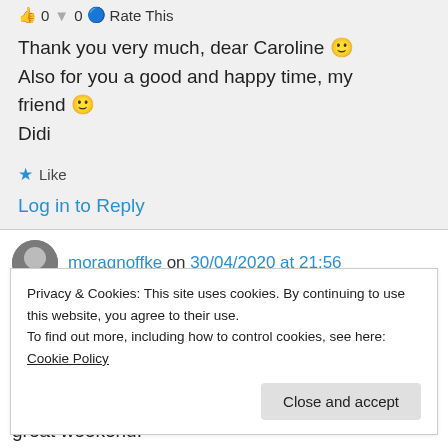0 0 Rate This
Thank you very much, dear Caroline 🙂 Also for you a good and happy time, my friend 🙂
Didi
★ Like
Log in to Reply
moragnoffke on 30/04/2020 at 21:56
Privacy & Cookies: This site uses cookies. By continuing to use this website, you agree to their use.
To find out more, including how to control cookies, see here: Cookie Policy
Close and accept
great weekend.